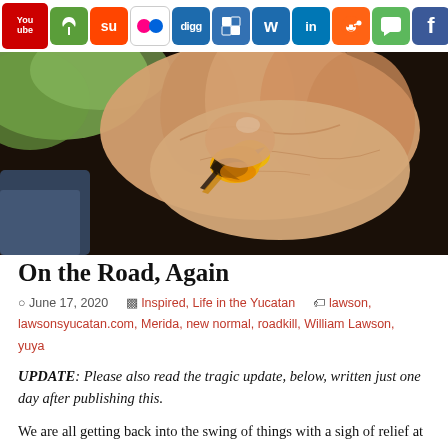[Figure (other): Social media sharing toolbar with icons: YouTube, nature/plant, StumbleUpon, Flickr, Digg, Delicious, Wordpress, LinkedIn, Reddit, chat bubble, Facebook, Twitter, RSS feed]
[Figure (photo): Close-up photograph of a human hand holding a small yellow and black bird (oriole), with green foliage in the background]
On the Road, Again
June 17, 2020   Inspired, Life in the Yucatan   lawson, lawsonsyucatan.com, Merida, new normal, roadkill, William Lawson, yuya
UPDATE: Please also read the tragic update, below, written just one day after publishing this.
We are all getting back into the swing of things with a sigh of relief at being “let out” and also a bit of apprehension as